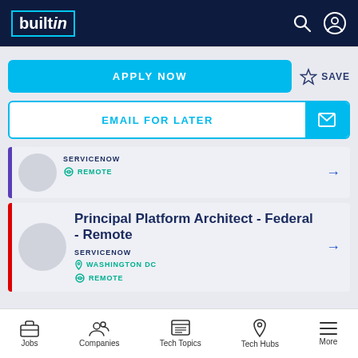builtin
APPLY NOW
SAVE
EMAIL FOR LATER
SERVICENOW | REMOTE
Principal Platform Architect - Federal - Remote | SERVICENOW | WASHINGTON DC | REMOTE
Jobs | Companies | Tech Topics | Tech Hubs | More